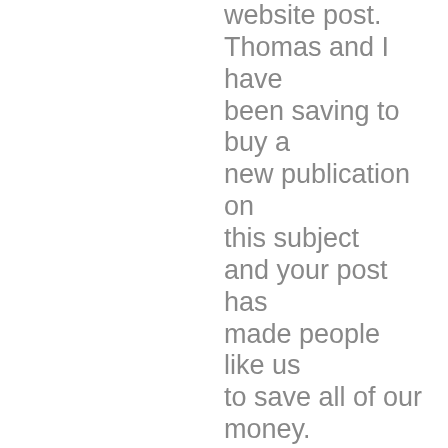website post. Thomas and I have been saving to buy a new publication on this subject and your post has made people like us to save all of our money. Your opinions really clarified all our issues. In fact, over what we had recognized in advance of the time we came upon your fantastic blog. I actually no longer have doubts and a troubled mind because you have totally attended to